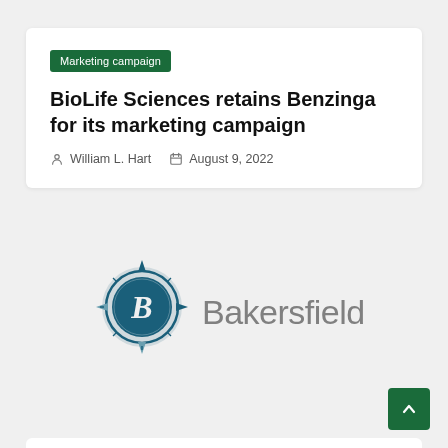Marketing campaign
BioLife Sciences retains Benzinga for its marketing campaign
William L. Hart   August 9, 2022
[Figure (logo): Bakersfield.com logo with compass-style B emblem in teal/dark blue and gray text reading Bakersfield.com]